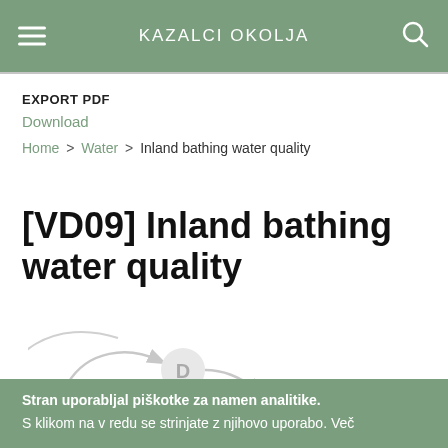KAZALCI OKOLJA
EXPORT PDF
Download
Home > Water > Inland bathing water quality
[VD09] Inland bathing water quality
[Figure (illustration): Partial circular diagram with letter D in a circle and arrows, partially visible]
Stran uporabljal piškotke za namen analitike. S klikom na v redu se strinjate z njihovo uporabo. Več